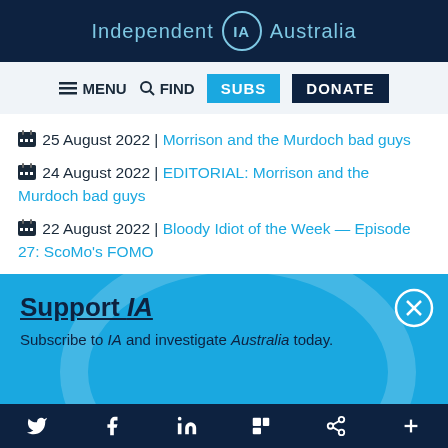Independent IA Australia
MENU  FIND  SUBS  DONATE
25 August 2022 | Morrison and the Murdoch bad guys
24 August 2022 | EDITORIAL: Morrison and the Murdoch bad guys
22 August 2022 | Bloody Idiot of the Week — Episode 27: ScoMo's FOMO
18 August 2022 | Dictator Morrison and the
Support IA
Subscribe to IA and investigate Australia today.
Twitter  Facebook  LinkedIn  Flipboard  Share  More